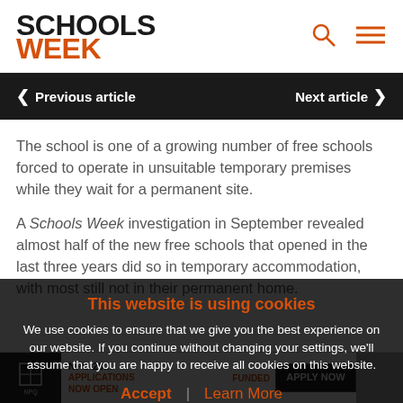SCHOOLS WEEK
< Previous article   Next article >
The school is one of a growing number of free schools forced to operate in unsuitable temporary premises while they wait for a permanent site.
A Schools Week investigation in September revealed almost half of the new free schools that opened in the last three years did so in temporary accommodation, with most still not in their permanent home.
This website is using cookies
We use cookies to ensure that we give you the best experience on our website. If you continue without changing your settings, we'll assume that you are happy to receive all cookies on this website.
Accept | Learn More